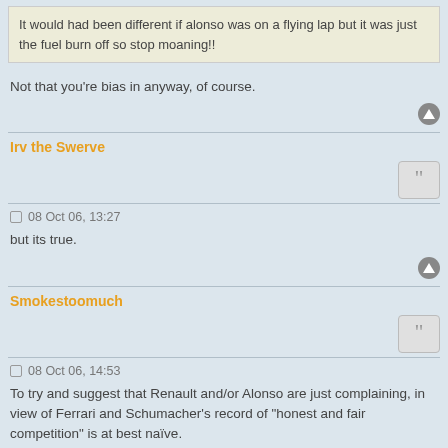It would had been different if alonso was on a flying lap but it was just the fuel burn off so stop moaning!!
Not that you're bias in anyway, of course.
Irv the Swerve
08 Oct 06, 13:27
but its true.
Smokestoomuch
08 Oct 06, 14:53
To try and suggest that Renault and/or Alonso are just complaining, in view of Ferrari and Schumacher's record of "honest and fair competition" is at best naïve.